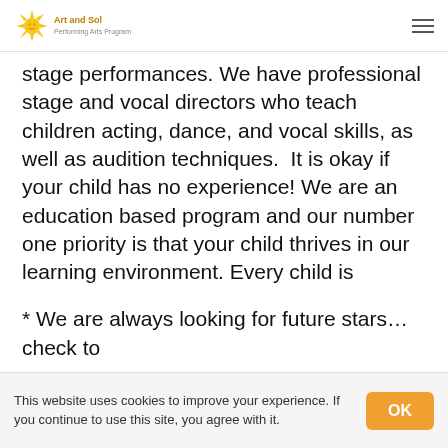Art and Sol - logo and navigation
stage performances. We have professional stage and vocal directors who teach children acting, dance, and vocal skills, as well as audition techniques.  It is okay if your child has no experience! We are an education based program and our number one priority is that your child thrives in our learning environment. Every child is guaranteed a part in the play, and after each session, they perform a professional musical production for family and friends in a beautiful theater venue.
* We are always looking for future stars…check to
This website uses cookies to improve your experience. If you continue to use this site, you agree with it.